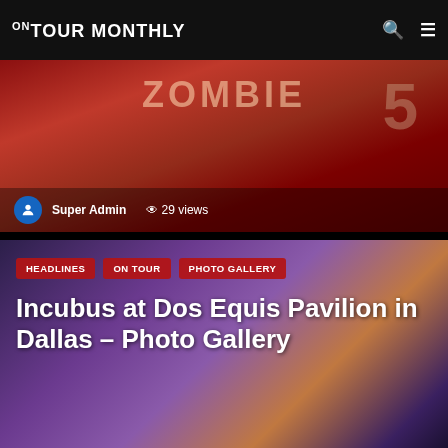ON TOUR MONTHLY
[Figure (photo): Concert photo with red/orange lighting showing 'ZOMBIE' text and number 5 on stage backdrop, with author info overlay showing Super Admin and 29 views]
Super Admin  29 views
[Figure (photo): Concert photo of Incubus singer performing at Dos Equis Pavilion in Dallas, purple/warm stage lighting, singer with tattoos and microphone]
HEADLINES
ON TOUR
PHOTO GALLERY
Incubus at Dos Equis Pavilion in Dallas – Photo Gallery